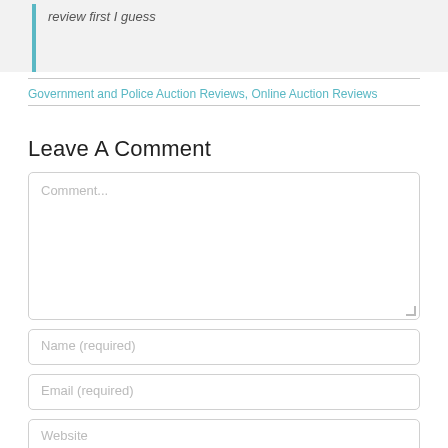review first I guess
Government and Police Auction Reviews, Online Auction Reviews
Leave A Comment
Comment...
Name (required)
Email (required)
Website